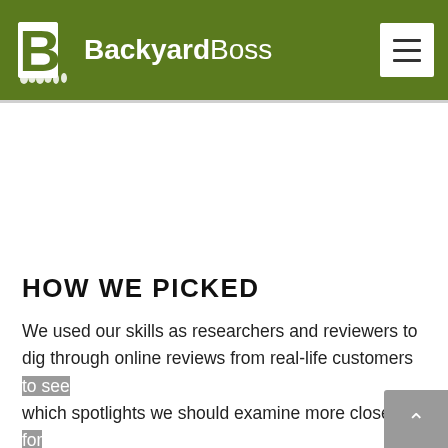BackyardBoss
HOW WE PICKED
We used our skills as researchers and reviewers to dig through online reviews from real-life customers to see which spotlights we should examine more closely for consideration on our list. After we narrowed down our list, we looked for the qualities we know make for good